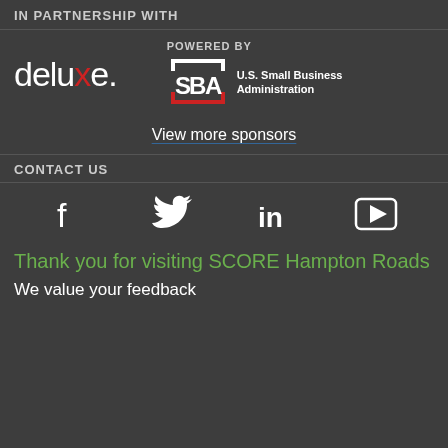IN PARTNERSHIP WITH
[Figure (logo): Deluxe logo (white text with red X) and SBA U.S. Small Business Administration logo with POWERED BY label]
View more sponsors
CONTACT US
[Figure (infographic): Social media icons: Facebook, Twitter, LinkedIn, YouTube]
Thank you for visiting SCORE Hampton Roads
We value your feedback